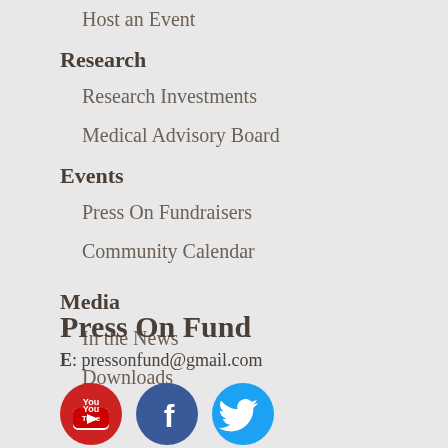Host an Event
Research
Research Investments
Medical Advisory Board
Events
Press On Fundraisers
Community Calendar
Media
In the News
Downloads
Press On Fund
E: pressonfund@gmail.com
[Figure (logo): Three social media icons: YouTube (red circle), Facebook (dark blue circle), Twitter (light blue circle)]